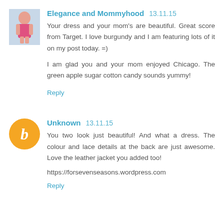[Figure (photo): Small avatar photo of a woman in a pink dress outdoors]
Elegance and Mommyhood 13.11.15
Your dress and your mom's are beautiful. Great score from Target. I love burgundy and I am featuring lots of it on my post today. =)
I am glad you and your mom enjoyed Chicago. The green apple sugar cotton candy sounds yummy!
Reply
[Figure (logo): Orange circle with letter B (Blogger icon)]
Unknown 13.11.15
You two look just beautiful! And what a dress. The colour and lace details at the back are just awesome. Love the leather jacket you added too!
https://forsevenseasons.wordpress.com
Reply